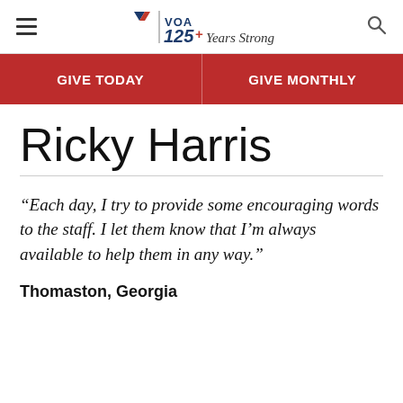VOA 125+ Years Strong
GIVE TODAY | GIVE MONTHLY
Ricky Harris
“Each day, I try to provide some encouraging words to the staff. I let them know that I’m always available to help them in any way.”
Thomaston, Georgia